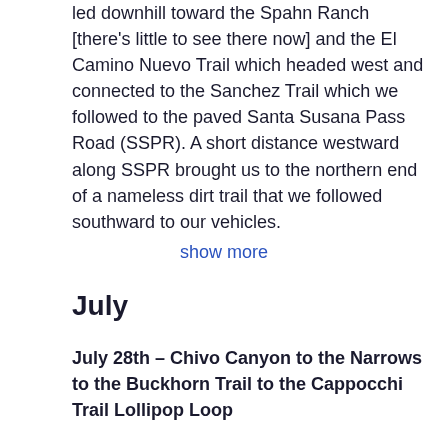led downhill toward the Spahn Ranch [there's little to see there now] and the El Camino Nuevo Trail which headed west and connected to the Sanchez Trail which we followed to the paved Santa Susana Pass Road (SSPR). A short distance westward along SSPR brought us to the northern end of a nameless dirt trail that we followed southward to our vehicles.
show more
July
July 28th – Chivo Canyon to the Narrows to the Buckhorn Trail to the Cappocchi Trail Lollipop Loop